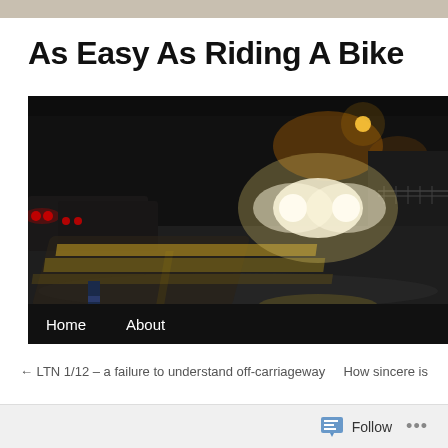As Easy As Riding A Bike
[Figure (photo): Night-time road scene with motion-blurred cars on a wet road. Headlights and tail lights streak across a dark, rain-soaked carriageway with street lamps visible in the background.]
Home   About
← LTN 1/12 – a failure to understand off-carriageway
How sincere is
Follow  •••